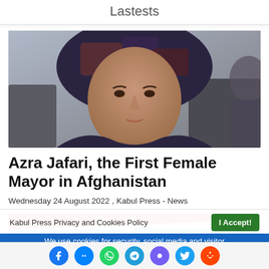Lastests
[Figure (photo): Portrait photo of Azra Jafari, a woman wearing a dark patterned headscarf, facing the camera against a blurred background.]
Azra Jafari, the First Female Mayor in Afghanistan
Wednesday 24 August 2022 , Kabul Press - News
[Figure (photo): Partial view of a flag with red, white and light blue fields, featuring a crescent and star symbol — appears to be an East Turkestan flag.]